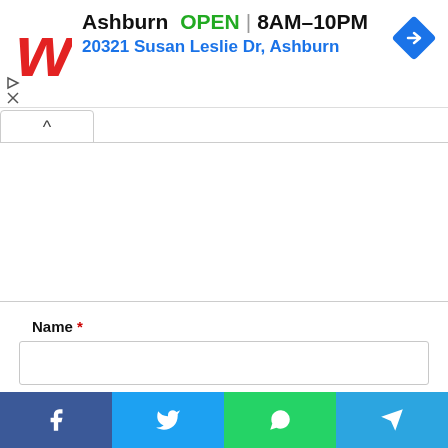[Figure (screenshot): Walgreens advertisement banner showing the Walgreens 'W' logo, location 'Ashburn', status 'OPEN', hours '8AM–10PM', address '20321 Susan Leslie Dr, Ashburn', and a blue navigation/directions diamond icon. Small play and close controls at bottom left.]
Name *
Email *
Website
[Figure (screenshot): Social share bar with four buttons: Facebook (blue), Twitter (light blue), WhatsApp (green), Telegram (blue).]